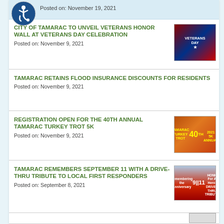Posted on: November 19, 2021
CITY OF TAMARAC TO UNVEIL VETERANS HONOR WALL AT VETERANS DAY CELEBRATION
Posted on: November 9, 2021
[Figure (illustration): Veterans Day event poster with American flag imagery and stars]
TAMARAC RETAINS FLOOD INSURANCE DISCOUNTS FOR RESIDENTS
Posted on: November 9, 2021
REGISTRATION OPEN FOR THE 40TH ANNUAL TAMARAC TURKEY TROT 5K
Posted on: November 9, 2021
[Figure (illustration): Tamarac Turkey Trot 40th Annual 5K 2021 event logo with turkey graphic]
TAMARAC REMEMBERS SEPTEMBER 11 WITH A DRIVE-THRU TRIBUTE TO LOCAL FIRST RESPONDERS
Posted on: September 8, 2021
[Figure (illustration): 9/11 anniversary Drive-Thru Tribute poster with 911 text and HONK For A Hero message]